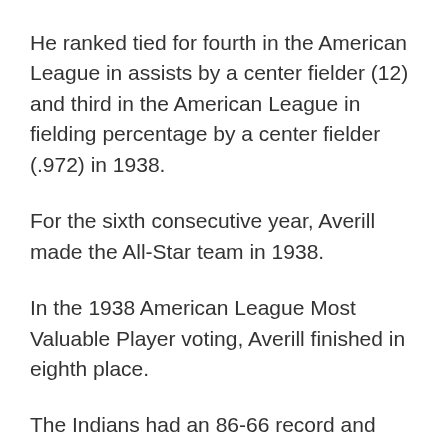He ranked tied for fourth in the American League in assists by a center fielder (12) and third in the American League in fielding percentage by a center fielder (.972) in 1938.
For the sixth consecutive year, Averill made the All-Star team in 1938.
In the 1938 American League Most Valuable Player voting, Averill finished in eighth place.
The Indians had an 86-66 record and finished in third place in the American League in 1938.